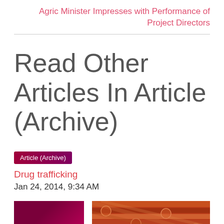Agric Minister Impresses with Performance of Project Directors
Read Other Articles In Article (Archive)
Article (Archive)
Drug trafficking
Jan 24, 2014, 9:34 AM
[Figure (photo): Two thumbnail images at the bottom of the page: a dark magenta/purple rectangle on the left and a decorative patterned textile or tile image in reddish-brown tones on the right.]